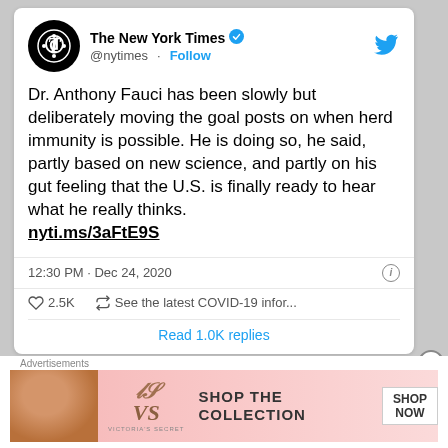[Figure (screenshot): Screenshot of a New York Times tweet showing NYT logo, account name, verified badge, Follow button, Twitter bird icon, tweet text about Dr. Anthony Fauci and herd immunity, a shortened URL nyti.ms/3aFtE9S, timestamp 12:30 PM · Dec 24, 2020, 2.5K likes, retweet/COVID info section, Read 1.0K replies bar, and a Victoria's Secret advertisement banner at the bottom.]